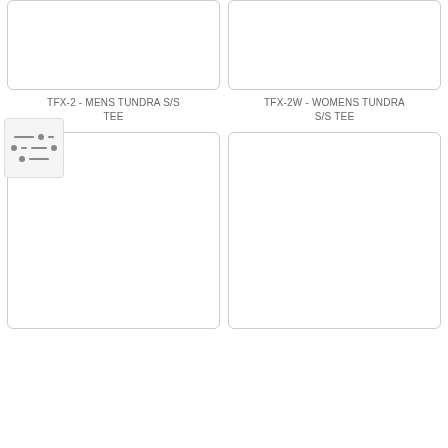[Figure (other): Product image placeholder box for TFX-2 MENS TUNDRA S/S TEE (top, left)]
[Figure (other): Product image placeholder box for TFX-2W WOMENS TUNDRA S/S TEE (top, right)]
TFX-2 - MENS TUNDRA S/S TEE
TFX-2W - WOMENS TUNDRA S/S TEE
[Figure (other): Product image placeholder box (bottom, left)]
[Figure (other): Product image placeholder box (bottom, right)]